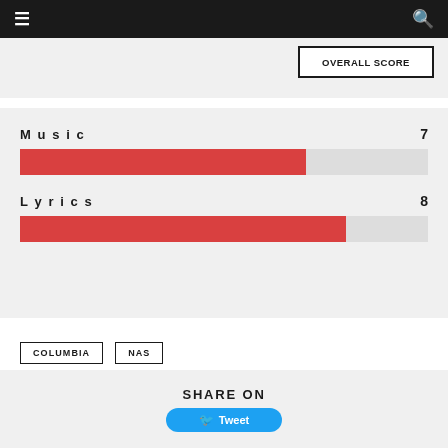≡  🔍
Overall Score
[Figure (bar-chart): Music and Lyrics Scores]
COLUMBIA
NAS
SHARE ON
Tweet